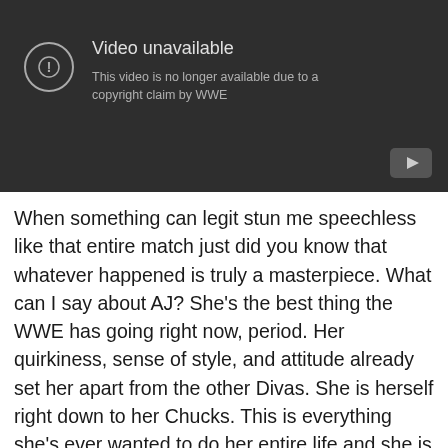[Figure (screenshot): YouTube video unavailable screen with dark background, exclamation icon in circle, title 'Video unavailable', subtitle 'This video is no longer available due to a copyright claim by WWE', and YouTube logo in bottom-right corner.]
When something can legit stun me speechless like that entire match just did you know that whatever happened is truly a masterpiece. What can I say about AJ? She's the best thing the WWE has going right now, period. Her quirkiness, sense of style, and attitude already set her apart from the other Divas. She is herself right down to her Chucks. This is everything she's ever wanted to do her entire life and she is working the main event scene with a WWE legend and two of the absolute best to ever step foot inside the ring. She's been put into the most intriguing storyline to come around in a long time and she's been a given a character to play that